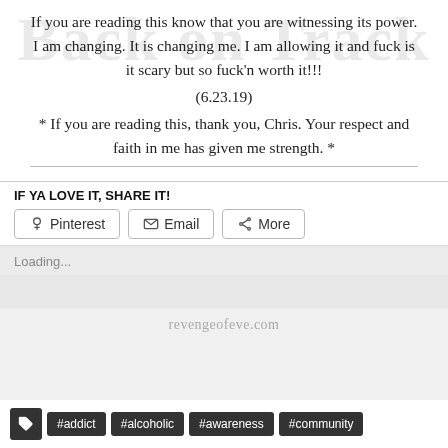If you are reading this know that you are witnessing its power. I am changing. It is changing me. I am allowing it and fuck is it scary but so fuck'n worth it!!!
(6.23.19)
* If you are reading this, thank you, Chris. Your respect and faith in me has given me strength. *
IF YA LOVE IT, SHARE IT!
[Figure (screenshot): Share buttons: Pinterest, Email, More]
Loading...
revengeofeve.com
#addict #alcoholic #awareness #community